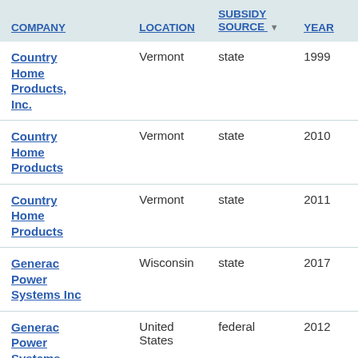| COMPANY | LOCATION | SUBSIDY SOURCE | YEAR |
| --- | --- | --- | --- |
| Country Home Products, Inc. | Vermont | state | 1999 |
| Country Home Products | Vermont | state | 2010 |
| Country Home Products | Vermont | state | 2011 |
| Generac Power Systems Inc | Wisconsin | state | 2017 |
| Generac Power Systems, Inc. | United States | federal | 2012 |